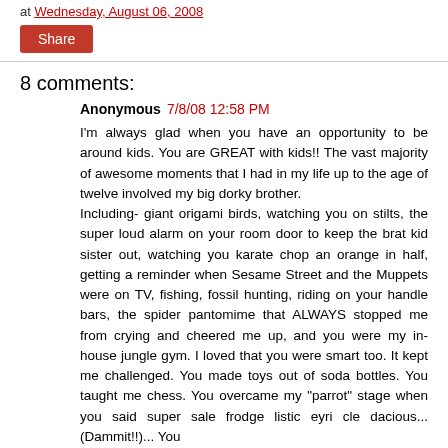at Wednesday, August 06, 2008
Share
8 comments:
Anonymous  7/8/08 12:58 PM
I'm always glad when you have an opportunity to be around kids. You are GREAT with kids!! The vast majority of awesome moments that I had in my life up to the age of twelve involved my big dorky brother.
Including- giant origami birds, watching you on stilts, the super loud alarm on your room door to keep the brat kid sister out, watching you karate chop an orange in half, getting a reminder when Sesame Street and the Muppets were on TV, fishing, fossil hunting, riding on your handle bars, the spider pantomime that ALWAYS stopped me from crying and cheered me up, and you were my in-house jungle gym. I loved that you were smart too. It kept me challenged. You made toys out of soda bottles. You taught me chess. You overcame my "parrot" stage when you said super sale frodge listic eyri cle dacious... (Dammit!!)... You